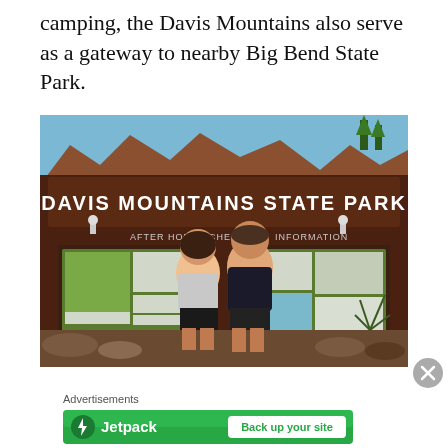camping, the Davis Mountains also serve as a gateway to nearby Big Bend State Park.
[Figure (photo): Two people standing in front of the Davis Mountains State Park entrance sign, which shows 'AFTER HOURS CHECK-IN' and 'INFORMATION' bulletin boards with maps and notices. Rocky ground in foreground, mountains and blue sky visible behind the sign.]
Advertisements
[Figure (logo): Jetpack advertisement banner with green background showing the Jetpack logo (lightning bolt icon) and text 'Jetpack' on the left, and a white button reading 'Back up your site' on the right.]